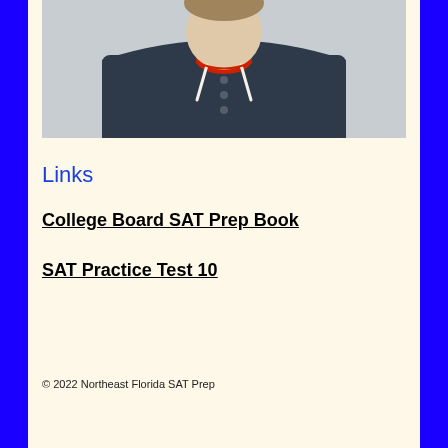[Figure (photo): Photo of a young man wearing a dark navy blue hoodie with white drawstrings and a red shirt underneath, cropped at the chest/neck area, gray background]
Links
College Board SAT Prep Book
SAT Practice Test 10
© 2022 Northeast Florida SAT Prep